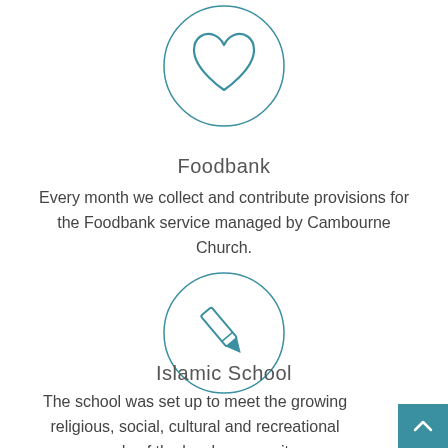[Figure (illustration): Teal heart icon inside a thin teal circle, partially cropped at the top]
Foodbank
Every month we collect and contribute provisions for the Foodbank service managed by Cambourne Church.
[Figure (illustration): Teal pencil icon inside a thin teal circle]
Islamic School
The school was set up to meet the growing religious, social, cultural and recreational needs of the local community.